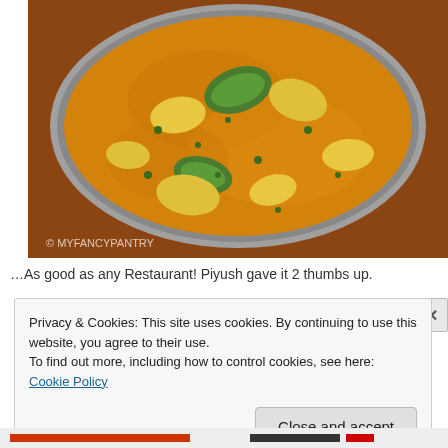[Figure (photo): Overhead photo of an Indian curry dish in a metal bowl, showing chicken or paneer pieces in a yellow-orange sauce with green peppers and herbs. Watermark reads '© MYFANCYPANTRY' at the bottom left.]
…As good as any Restaurant! Piyush gave it 2 thumbs up.
Privacy & Cookies: This site uses cookies. By continuing to use this website, you agree to their use.
To find out more, including how to control cookies, see here: Cookie Policy